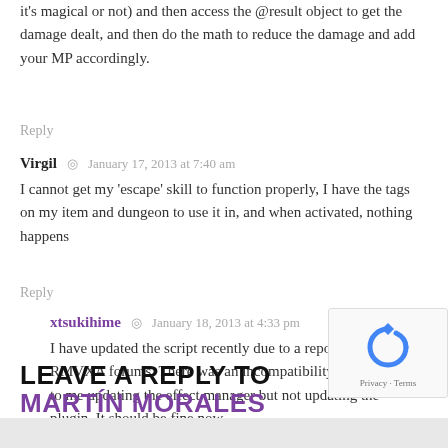it's magical or not) and then access the @result object to get the damage dealt, and then do the math to reduce the damage and add your MP accordingly.
Reply
Virgil  ◎  January 17, 2013 at 7:40 am
I cannot get my 'escape' skill to function properly, I have the tags on my item and dungeon to use it in, and when activated, nothing happens
Reply
xtsukihime  ◎  January 18, 2013 at 4:33 pm
I have updated the script recently due to a report on the RMVXA forums. There was an incompatibility issue due to me updating the effect manager but not updating the plugin. It should be fine now
Reply
LEAVE A REPLY TO MARTÍN MORALES